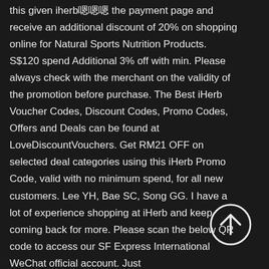this given iherb嗯嗯嗯 the payment page and receive an additional discount of 20% on shopping online for Natural Sports Nutrition Products. S$120 spend Additional 3% off with min. Please always check with the merchant on the validity of the promotion before purchase. The Best iHerb Voucher Codes, Discount Codes, Promo Codes, Offers and Deals can be found at LoveDiscountVouchers. Get RM21 OFF on selected deal categories using this iHerb Promo Code, valid with no minimum spend, for all new customers. Lee YH, Bae SC, Song GG. I have a lot of experience shopping at iHerb and keep coming back for more. Please scan the below QR code to access our SF Express International WeChat official account. Just
[Figure (other): A circular button with an upward-pointing arrow icon, white outline on dark background, positioned at bottom right]